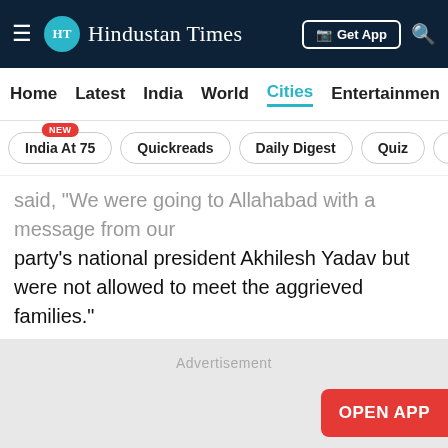Hindustan Times
Home  Latest  India  World  Cities  Entertainment
India At 75  Quickreads  Daily Digest  Quiz  V
party’s national president Akhilesh Yadav but were not allowed to meet the aggrieved families.”
[Figure (other): Advertisement placeholder area with a red OPEN APP button on the right and a Close Story dark pill button in the center bottom.]